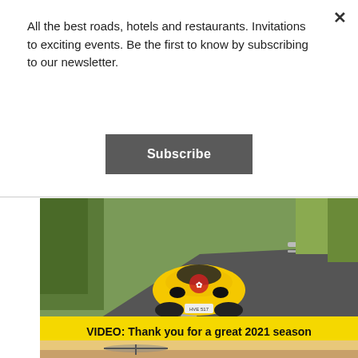All the best roads, hotels and restaurants. Invitations to exciting events. Be the first to know by subscribing to our newsletter.
Subscribe
[Figure (photo): Yellow sports car driving on a winding road with trees and guardrails, aerial front view, with a floral logo on the hood.]
VIDEO: Thank you for a great 2021 season
[Figure (photo): Person in a gyroplane or ultralight aircraft on a runway at sunset, golden hour lighting.]